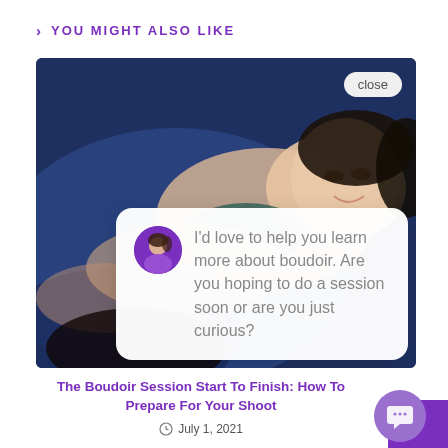> YOU MIGHT ALSO LIKE
[Figure (photo): Boudoir photo of a woman lying on a blue surface, smiling, with a chat popup overlay showing a message about boudoir sessions and a 'close' button]
The Boudoir Session Start To Finish: How To Prepare For Your Shoot
July 1, 2021